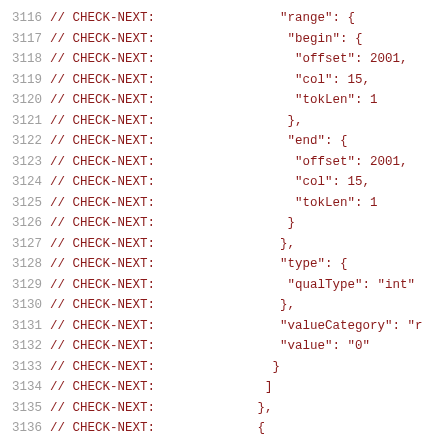Code listing lines 3116-3136 showing CHECK-NEXT comments with JSON structure including range, begin, end, offset, col, tokLen, type, qualType, valueCategory, and value fields